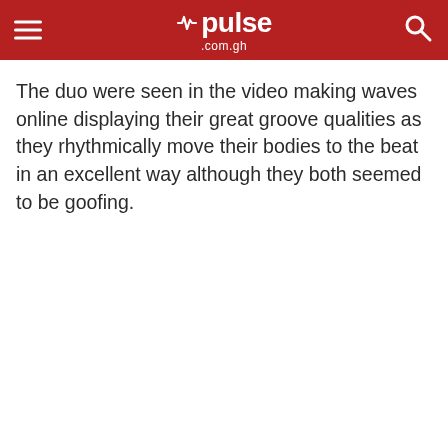pulse .com.gh
The duo were seen in the video making waves online displaying their great groove qualities as they rhythmically move their bodies to the beat in an excellent way although they both seemed to be goofing.